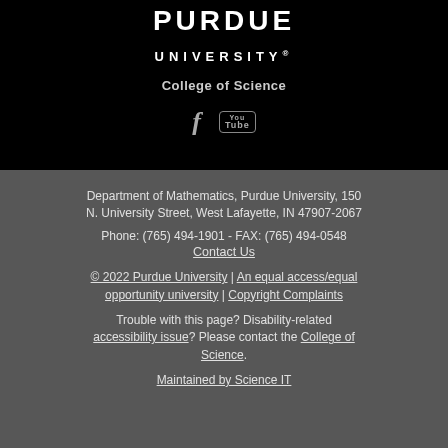[Figure (logo): Purdue University logo with PURDUE UNIVERSITY text in white on black background]
College of Science
[Figure (illustration): Social media icons: Facebook (f) and YouTube (You Tube box)]
Department of Mathematics, Purdue University, 150 N. University Street, West Lafayette, IN 47907-2067
Phone: (765) 494-1901 - FAX: (765) 494-0548
Contact Us
© 2022 Purdue University | An equal access/equal opportunity university | Copyright Complaints
Trouble with this page? Disability-related accessibility issue? Please contact the College of Science.
Maintained by Science IT